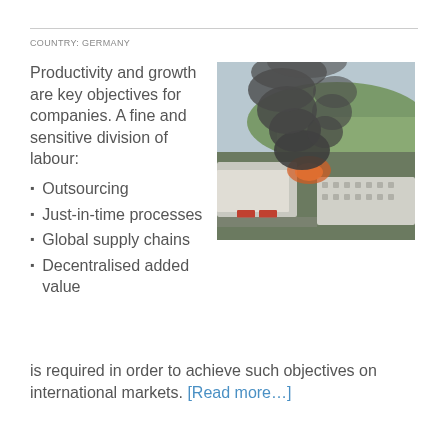COUNTRY: GERMANY
Productivity and growth are key objectives for companies. A fine and sensitive division of labour:
[Figure (photo): Aerial view of an industrial area with large dark smoke plumes rising from a fire among warehouse buildings, green fields visible in the background.]
Outsourcing
Just-in-time processes
Global supply chains
Decentralised added value
is required in order to achieve such objectives on international markets. [Read more…]